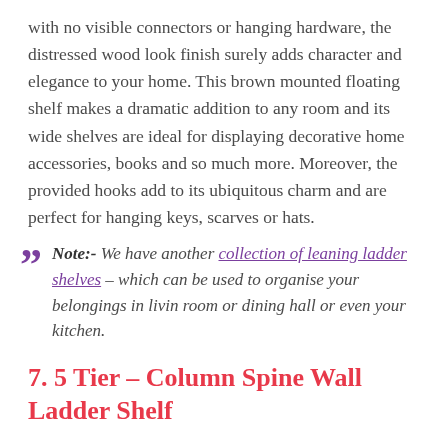with no visible connectors or hanging hardware, the distressed wood look finish surely adds character and elegance to your home. This brown mounted floating shelf makes a dramatic addition to any room and its wide shelves are ideal for displaying decorative home accessories, books and so much more. Moreover, the provided hooks add to its ubiquitous charm and are perfect for hanging keys, scarves or hats.
Note:- We have another collection of leaning ladder shelves – which can be used to organise your belongings in livin room or dining hall or even your kitchen.
7. 5 Tier – Column Spine Wall Ladder Shelf